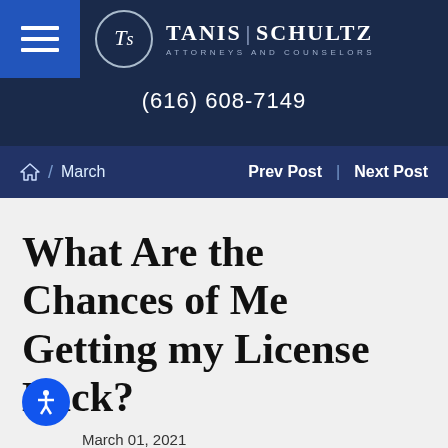[Figure (logo): Tanis Schultz Attorneys and Counselors law firm logo with TS monogram in circle, on dark navy background with phone number (616) 608-7149]
Home / March    Prev Post | Next Post
What Are the Chances of Me Getting my License Back?
March 01, 2021